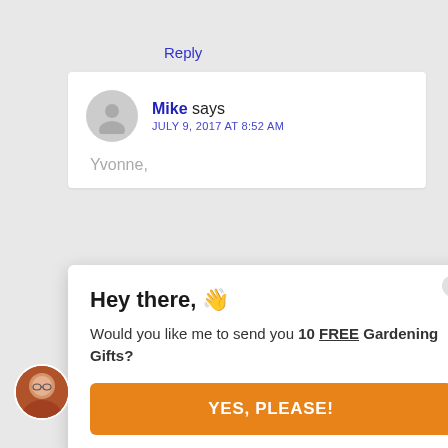Reply
Mike says
JULY 9, 2017 AT 8:52 AM
Yvonne,
Hey there, 👋
Would you like me to send you 10 FREE Gardening Gifts?
YES, PLEASE!